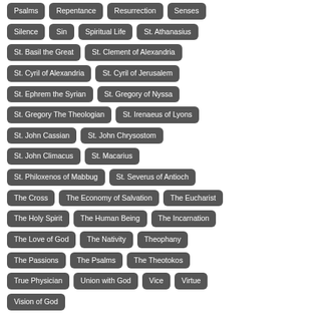Psalms
Repentance
Resurrection
Senses
Silence
Sin
Spiritual Life
St. Athanasius
St. Basil the Great
St. Clement of Alexandria
St. Cyril of Alexandria
St. Cyril of Jerusalem
St. Ephrem the Syrian
St. Gregory of Nyssa
St. Gregory The Theologian
St. Irenaeus of Lyons
St. John Cassian
St. John Chrysostom
St. John Climacus
St. Macarius
St. Philoxenos of Mabbug
St. Severus of Antioch
The Cross
The Economy of Salvation
The Eucharist
The Holy Spirit
The Human Being
The Incarnation
The Love of God
The Nativity
Theophany
The Passions
The Psalms
The Theotokos
True Physician
Union with God
Vice
Virtue
Vision of God